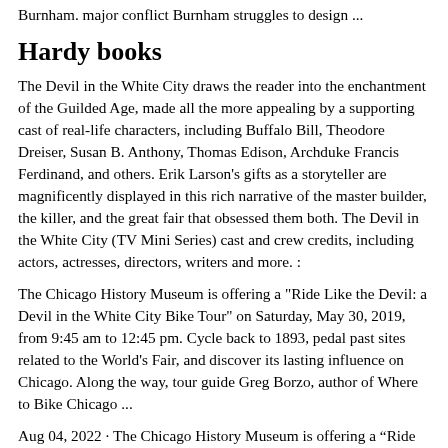Burnham. major conflict Burnham struggles to design ...
Hardy books
The Devil in the White City draws the reader into the enchantment of the Guilded Age, made all the more appealing by a supporting cast of real-life characters, including Buffalo Bill, Theodore Dreiser, Susan B. Anthony, Thomas Edison, Archduke Francis Ferdinand, and others. Erik Larson's gifts as a storyteller are magnificently displayed in this rich narrative of the master builder, the killer, and the great fair that obsessed them both. The Devil in the White City (TV Mini Series) cast and crew credits, including actors, actresses, directors, writers and more. :
The Chicago History Museum is offering a "Ride Like the Devil: a Devil in the White City Bike Tour" on Saturday, May 30, 2019, from 9:45 am to 12:45 pm. Cycle back to 1893, pedal past sites related to the World's Fair, and discover its lasting influence on Chicago. Along the way, tour guide Greg Borzo, author of Where to Bike Chicago ...
Aug 04, 2022 · The Chicago History Museum is offering a “Ride Like the Devil: a Devil in the White City Bike Tour” on Saturday, May 30, 2019, from 9:45 am to 12:45 pm. Cycle back to 1893, pedal past sites related to the World's Fair, and discover its lasting influence on Chicago.